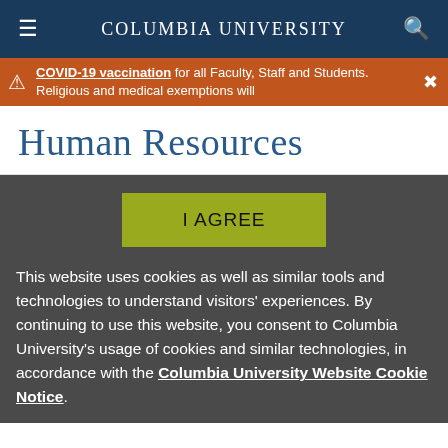Columbia University
COVID-19 vaccination for all Faculty, Staff and Students. Religious and medical exemptions will
Human Resources
I AGREE
This website uses cookies as well as similar tools and technologies to understand visitors' experiences. By continuing to use this website, you consent to Columbia University's usage of cookies and similar technologies, in accordance with the Columbia University Website Cookie Notice.